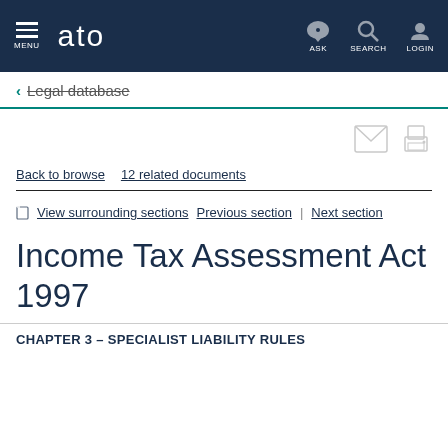ATO - Australian Taxation Office navigation bar with MENU, ASK, SEARCH, LOGIN
← Legal database
Back to browse   12 related documents
View surrounding sections   Previous section  |  Next section
Income Tax Assessment Act 1997
CHAPTER 3 – SPECIALIST LIABILITY RULES